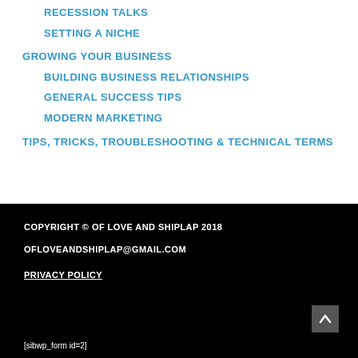RECESSION TALKS
SETTING A NICHE
GROWING YOUR BUSINESS
BUILDING BUSINESS RELATIONSHIPS
GENERAL SUCCESS TIPS
MODERN MARKETING
TIPS, TRICKS, TROUBLESHOOTING & TECHNICAL TERMS
COPYRIGHT © OF LOVE AND SHIPLAP 2018
OFLOVEANDSHIPLAP@GMAIL.COM
PRIVACY POLICY
[sibwp_form id=2]